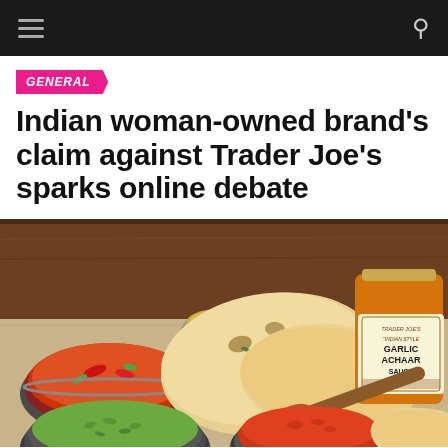Navigation bar with menu and search icons
GENERAL
Indian woman-owned brand's claim against Trader Joe's sparks online debate
[Figure (photo): Food photography showing Indian dishes including curry in metal bowls, garlic naan bread, green rice, red chutney sauce, and a jar of Trader Joe's Indian Style Garlic Achaar Sauce on a wooden and burlap surface.]